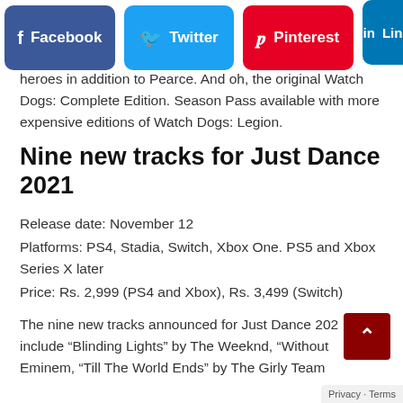[Figure (infographic): Social sharing buttons: Facebook (blue), Twitter (cyan), Pinterest (red), LinkedIn (blue, partially visible)]
heroes in addition to Pearce. And oh, the original Watch Dogs: Complete Edition. Season Pass available with more expensive editions of Watch Dogs: Legion.
Nine new tracks for Just Dance 2021
Release date: November 12
Platforms: PS4, Stadia, Switch, Xbox One. PS5 and Xbox Series X later
Price: Rs. 2,999 (PS4 and Xbox), Rs. 3,499 (Switch)
The nine new tracks announced for Just Dance 2021 include “Blinding Lights” by The Weeknd, “Without” by Eminem, “Till The World Ends” by The Girly Team